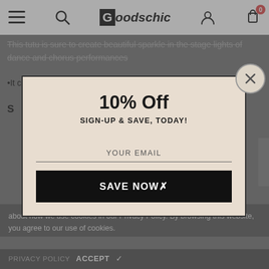Goodschic
This tutu is sure to create beautiful sparkle in the stage lights of dance and chorus performances
•It can wear alone or pair with your outwear
S
[Figure (screenshot): Modal popup with beige background showing '10% Off' discount offer with sign-up form. Title: '10% Off', subtitle: 'SIGN-UP & SAVE, TODAY!', email input field labeled 'YOUR EMAIL', black button 'SAVE NOW'. Close button (X) in top right corner.]
about how we use cookies in our Privacy Policy. By browsing this website, you agree to our use of cookies.
PRIVACY POLICY  ACCEPT ✓